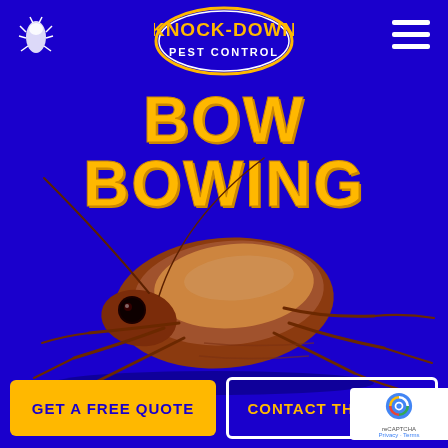[Figure (logo): Knock-Down Pest Control logo: oval blue and yellow badge with text KNOCK-DOWN PEST CONTROL in bold yellow/orange lettering on blue background]
[Figure (illustration): Small white bug/pest silhouette icon in top left of header]
[Figure (illustration): Hamburger menu icon (3 white horizontal lines) in top right of header]
BOW BOWING
[Figure (photo): Large photorealistic 3D rendered cockroach (American cockroach) facing left, brown coloring with long antennae, against deep blue background]
GET A FREE QUOTE
CONTACT THE TEAM